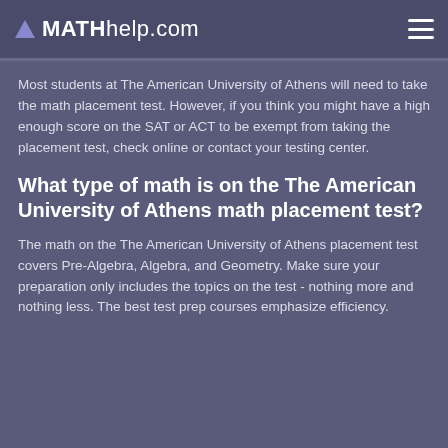MATHhelp.com
Most students at The American University of Athens will need to take the math placement test. However, if you think you might have a high enough score on the SAT or ACT to be exempt from taking the placement test, check online or contact your testing center.
What type of math is on the The American University of Athens math placement test?
The math on the The American University of Athens placement test covers Pre-Algebra, Algebra, and Geometry. Make sure your preparation only includes the topics on the test - nothing more and nothing less. The best test prep courses emphasize efficiency.